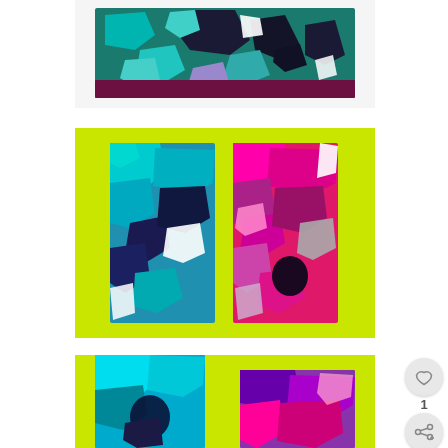[Figure (photo): Abstract textile or fabric artwork with teal, green, dark navy, lavender, and maroon geometric shapes on a white background — top portion of a folded or draped piece]
[Figure (photo): Two abstract fabric/felt collage panels displayed on a lime green background: left panel has cyan, navy, white abstract shapes; right panel has hot pink, magenta, purple, grey, white abstract shapes]
[Figure (photo): Close-up partial view of two abstract felt/fabric panels on lime green background — left panel teal/cyan, right panel purple/magenta/pink — cropped at bottom of page]